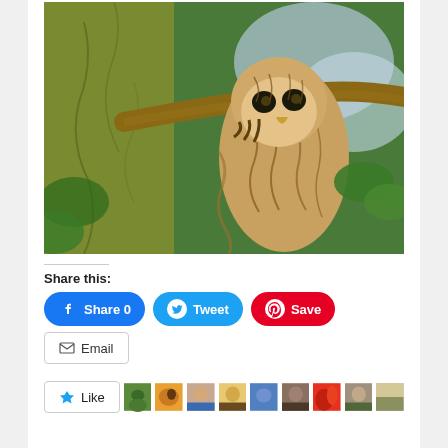[Figure (photo): An owl perched on a tree branch, looking downward. The owl has brown and white streaked plumage. Behind it is a mossy tree trunk and green foliage in the background.]
Share this:
[Figure (screenshot): Social sharing buttons: Facebook Share 0, Twitter Tweet, Pinterest Save, Email]
[Figure (screenshot): Like button and a row of user avatar thumbnails]